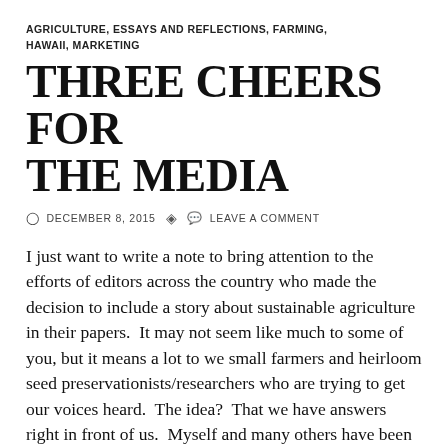AGRICULTURE, ESSAYS AND REFLECTIONS, FARMING, HAWAII, MARKETING
THREE CHEERS FOR THE MEDIA
⊙ DECEMBER 8, 2015   ✦ LEAVE A COMMENT
I just want to write a note to bring attention to the efforts of editors across the country who made the decision to include a story about sustainable agriculture in their papers.  It may not seem like much to some of you, but it means a lot to we small farmers and heirloom seed preservationists/researchers who are trying to get our voices heard.  The idea?  That we have answers right in front of us.  Myself and many others have been trying our best to share old news that is also good news:  Heirlooms matter.  So it is all the better